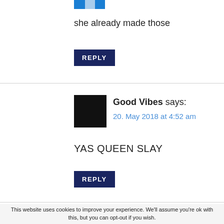[Figure (other): Small avatar icon with blue and light blue color blocks]
she already made those
REPLY
Good Vibes says:
20. May 2018 at 4:52 am
YAS QUEEN SLAY
REPLY
This website uses cookies to improve your experience. We'll assume you're ok with this, but you can opt-out if you wish.
Cookie settings
ACCEPT